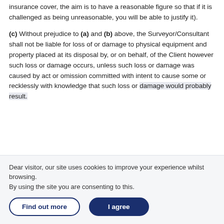insurance cover, the aim is to have a reasonable figure so that if it is challenged as being unreasonable, you will be able to justify it).
(c) Without prejudice to (a) and (b) above, the Surveyor/Consultant shall not be liable for loss of or damage to physical equipment and property placed at its disposal by, or on behalf, of the Client however such loss or damage occurs, unless such loss or damage was caused by act or omission committed with intent to cause some or recklessly with knowledge that such loss or damage would probably result.
Dear visitor, our site uses cookies to improve your experience whilst browsing.
By using the site you are consenting to this.
Find out more
I agree